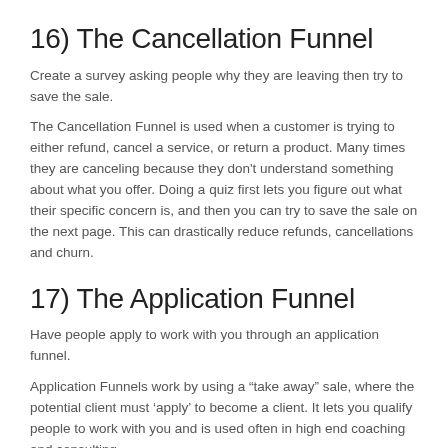16) The Cancellation Funnel
Create a survey asking people why they are leaving then try to save the sale.
The Cancellation Funnel is used when a customer is trying to either refund, cancel a service, or return a product. Many times they are canceling because they don't understand something about what you offer. Doing a quiz first lets you figure out what their specific concern is, and then you can try to save the sale on the next page. This can drastically reduce refunds, cancellations and churn.
17) The Application Funnel
Have people apply to work with you through an application funnel.
Application Funnels work by using a “take away” sale, where the potential client must ‘apply’ to become a client. It lets you qualify people to work with you and is used often in high end coaching and consulting.